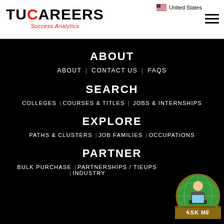United States
[Figure (logo): TUCAREERS Success Analytics logo in black and red]
ABOUT
ABOUT | CONTACT US | FAQs
SEARCH
COLLEGES | COURSES & TITLES | JOBS & INTERNSHIPS
EXPLORE
PATHS & CLUSTERS | JOB FAMILIES | OCCUPATIONS
PARTNER
BULK PURCHASE | PARTNERSHIPS / TIEUPS | INDUSTRY
[Figure (illustration): ASK ME chatbot avatar - circular illustration with person at computer on globe background]